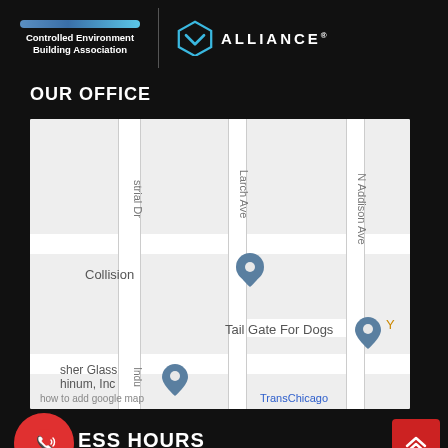[Figure (logo): Controlled Environment Building Association logo with blue gradient bar and text]
[Figure (logo): Alliance logo with shield/chevron icon and ALLIANCE text]
OUR OFFICE
[Figure (map): Google Maps screenshot showing streets including Larch Ave, N Addison Ave, strial Dr, Indu street. Points of interest: Collision, Tail Gate For Dogs, sher Glass hinum Inc. Text at bottom: how to add google map, TransChicago]
[Figure (other): Red circular phone/call button with sound waves icon]
ESS HOURS
[Figure (other): Red square scroll-to-top button with double chevron up arrow]